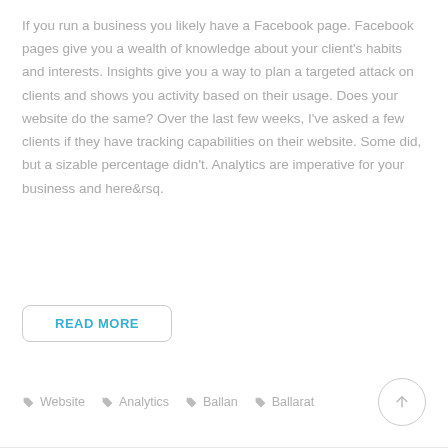If you run a business you likely have a Facebook page. Facebook pages give you a wealth of knowledge about your client's habits and interests. Insights give you a way to plan a targeted attack on clients and shows you activity based on their usage. Does your website do the same? Over the last few weeks, I've asked a few clients if they have tracking capabilities on their website. Some did, but a sizable percentage didn't. Analytics are imperative for your business and here&rsq.
READ MORE
Website   Analytics   Ballan   Ballarat